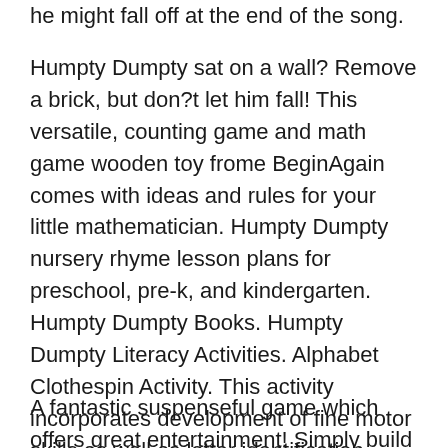he might fall off at the end of the song.
Humpty Dumpty sat on a wall? Remove a brick, but don?t let him fall! This versatile, counting game and math game wooden toy frome BeginAgain comes with ideas and rules for your little mathematician. Humpty Dumpty nursery rhyme lesson plans for preschool, pre-k, and kindergarten. Humpty Dumpty Books. Humpty Dumpty Literacy Activities. Alphabet Clothespin Activity. This activity incorporates development of fine motor skills as well as letter identification. Both upper and lowercase versions of the game are included.
A fantastic suspenseful game which offers great entertainment! Simply build the wall, decide